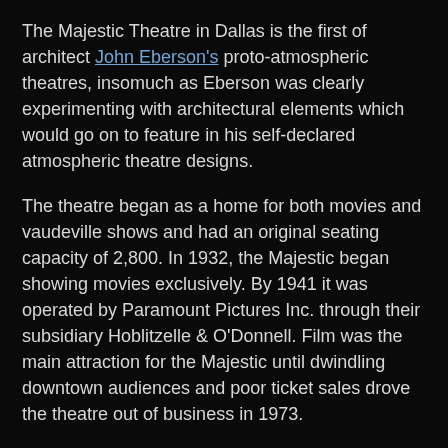The Majestic Theatre in Dallas is the first of architect John Eberson's proto-atmospheric theatres, insomuch as Eberson was clearly experimenting with architectural elements which would go on to feature in his self-declared atmospheric theatre designs.
The theatre began as a home for both movies and vaudeville shows and had an original seating capacity of 2,800. In 1932, the Majestic began showing movies exclusively. By 1941 it was operated by Paramount Pictures Inc. through their subsidiary Hoblitzelle & O'Donnell. Film was the main attraction for the Majestic until dwindling downtown audiences and poor ticket sales drove the theatre out of business in 1973.
The Majestic was reopened by the City of Dallas along with donations from private and corporate supporters in 1983 after undergoing a transformation to accommodate more seating for performing arts and concerts.